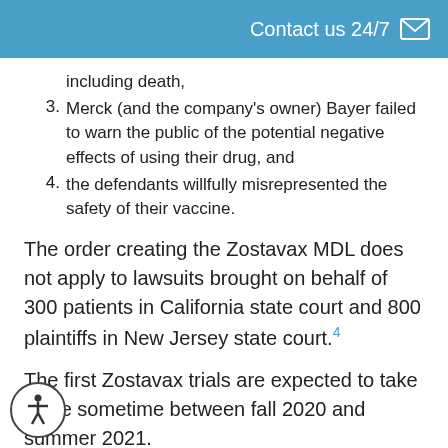Contact us 24/7
including death,
3. Merck (and the company's owner) Bayer failed to warn the public of the potential negative effects of using their drug, and
4. the defendants willfully misrepresented the safety of their vaccine.
The order creating the Zostavax MDL does not apply to lawsuits brought on behalf of 300 patients in California state court and 800 plaintiffs in New Jersey state court.⁴
The first Zostavax trials are expected to take place sometime between fall 2020 and summer 2021.